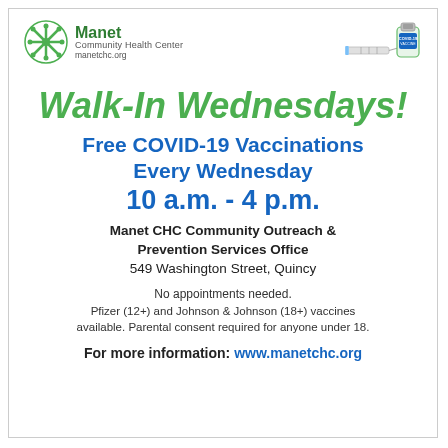[Figure (logo): Manet Community Health Center logo with green snowflake/people icon and text 'Manet Community Health Center manetchc.org']
[Figure (illustration): Illustration of a COVID-19 vaccine vial and syringe]
Walk-In Wednesdays!
Free COVID-19 Vaccinations
Every Wednesday
10 a.m. - 4 p.m.
Manet CHC Community Outreach & Prevention Services Office
549 Washington Street, Quincy
No appointments needed.
Pfizer (12+) and Johnson & Johnson (18+) vaccines available. Parental consent required for anyone under 18.
For more information: www.manetchc.org